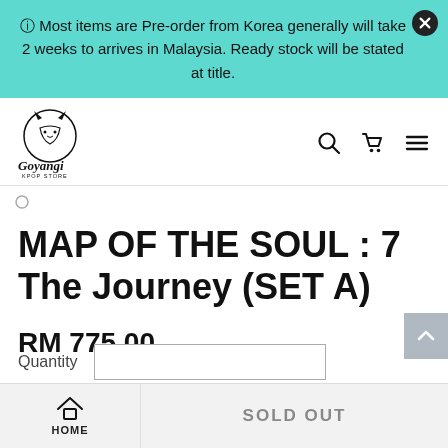ℹ Most items are Pre-order from Korea generally will take 2 weeks to arrives in Malaysia. Ready stock will be stated at title.
[Figure (logo): Goyangi Kpop Store logo — circular emblem with cat silhouette above stylized text 'Goyangi' and 'KPOP STORE' below]
[Figure (infographic): Navigation bar icons: search (magnifying glass), cart (shopping trolley), hamburger menu]
MAP OF THE SOUL : 7 The Journey (SET A)
RM 775.00
Quantity
SOLD OUT